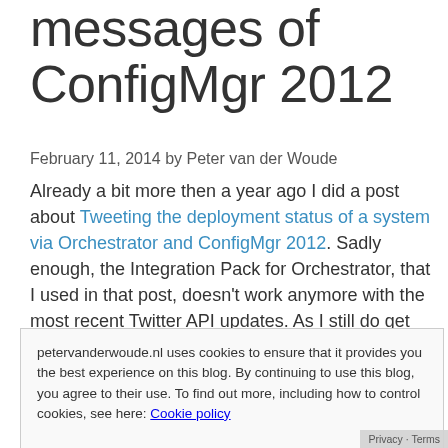messages of ConfigMgr 2012
February 11, 2014 by Peter van der Woude
Already a bit more then a year ago I did a post about Tweeting the deployment status of a system via Orchestrator and ConfigMgr 2012. Sadly enough, the Integration Pack for Orchestrator, that I used in that post, doesn't work anymore with the most recent Twitter API updates. As I still do get questions and comments about it, I thought it would be a good time to come up with an
petervanderwoude.nl uses cookies to ensure that it provides you the best experience on this blog. By continuing to use this blog, you agree to their use. To find out more, including how to control cookies, see here: Cookie policy
Close and accept
Orchestrator, or via Service Management Automatic (SMA). A standalone PowerShell script gives to little